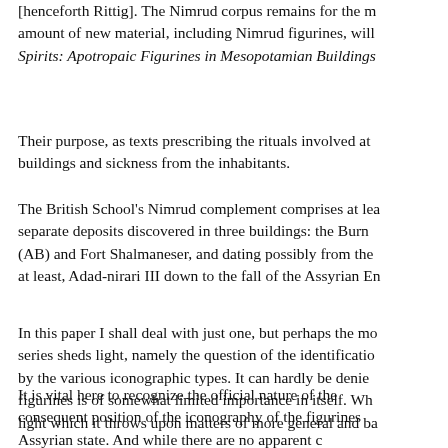[henceforth Rittig]. The Nimrud corpus remains for the m amount of new material, including Nimrud figurines, will Spirits: Apotropaic Figurines in Mesopotamian Buildings
Their purpose, as texts prescribing the rituals involved at buildings and sickness from the inhabitants.
The British School's Nimrud complement comprises at lea separate deposits discovered in three buildings: the Burn (AB) and Fort Shalmaneser, and dating possibly from the at least, Adad-nirari III down to the fall of the Assyrian En
In this paper I shall deal with just one, but perhaps the mo series sheds light, namely the question of the identificatio by the various iconographic types. It can hardly be denie figurines is of somewhat limited importance in itself. Wh light which it throws upon matters of more general and ba
It is vital here to recognize the official nature of the consequent position of the iconography of the figurines Assyrian state. And while there are no apparent c